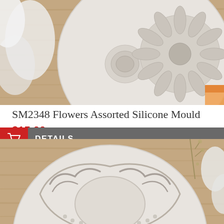[Figure (photo): White circular silicone mould with flower shapes (rose, daisy, etc.) placed on a wooden surface with white flowers around it]
SM2348 Flowers Assorted Silicone Mould
$15.00
DETAILS
[Figure (photo): White circular silicone mould with ornate baroque scroll and pearl border design on a wooden surface with dried flowers]